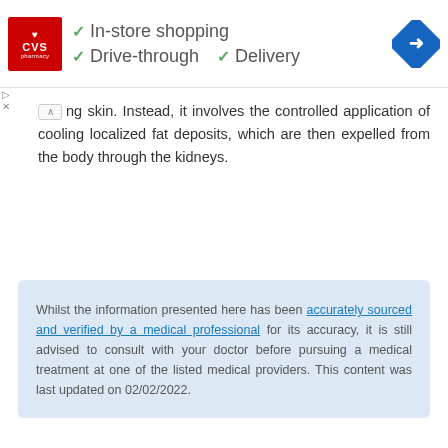[Figure (screenshot): CVS Pharmacy advertisement banner showing logo with checkmarks for In-store shopping, Drive-through, and Delivery, plus a navigation/directions icon]
ng skin. Instead, it involves the controlled application of cooling localized fat deposits, which are then expelled from the body through the kidneys.
Whilst the information presented here has been accurately sourced and verified by a medical professional for its accuracy, it is still advised to consult with your doctor before pursuing a medical treatment at one of the listed medical providers. This content was last updated on 02/02/2022.